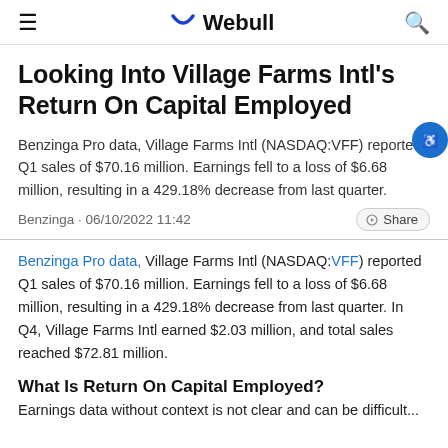≡  Webull  🔍
Looking Into Village Farms Intl's Return On Capital Employed
Benzinga Pro data, Village Farms Intl (NASDAQ:VFF) reported Q1 sales of $70.16 million. Earnings fell to a loss of $6.68 million, resulting in a 429.18% decrease from last quarter.
Benzinga · 06/10/2022 11:42
Benzinga Pro data, Village Farms Intl (NASDAQ:VFF) reported Q1 sales of $70.16 million. Earnings fell to a loss of $6.68 million, resulting in a 429.18% decrease from last quarter. In Q4, Village Farms Intl earned $2.03 million, and total sales reached $72.81 million.
What Is Return On Capital Employed?
Earnings data without context is not clear and can be difficult...